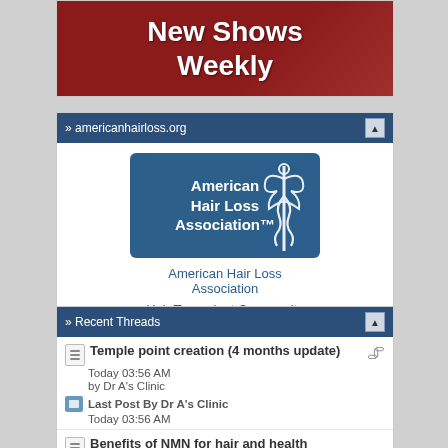[Figure (illustration): Red background banner with bold white text reading 'New Shows Weekly']
» americanhairloss.org
[Figure (logo): American Hair Loss Association logo — blue rounded rectangle with caduceus symbol and white text]
American Hair Loss Association
Hair Transplant Community
» Recent Threads
Temple point creation (4 months update)
Today 03:56 AM
by Dr A's Clinic
Last Post By Dr A's Clinic
Today 03:56 AM
Benefits of NMN for hair and health
05-04-2023 05:10 AM